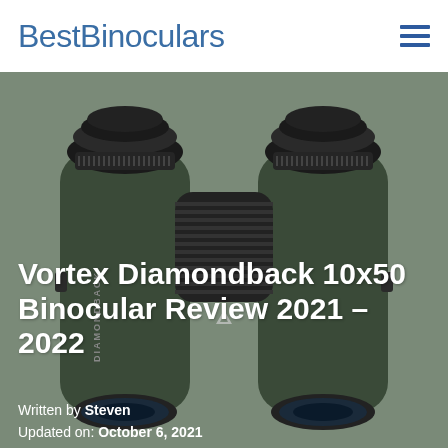BestBinoculars
[Figure (photo): Close-up photograph of Vortex Diamondback 10x50 binoculars against a gray background, showing the eyepieces, focus wheel, and body with DIAMONDBACK branding visible]
Vortex Diamondback 10x50 Binocular Review 2021 – 2022
Written by Steven
Updated on: October 6, 2021